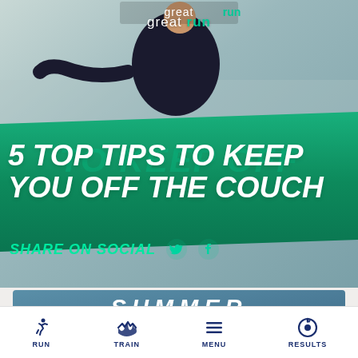[Figure (photo): Runner in dark t-shirt reaching forward, crowd blurred in background, outdoor running event. Great Run logo visible at top.]
5 TOP TIPS TO KEEP YOU OFF THE COUCH
SHARE ON SOCIAL
[Figure (photo): Summer Sale promotional banner with blue-teal gradient background showing 'SUMMER SALE' text]
RUN   TRAIN   MENU   RESULTS